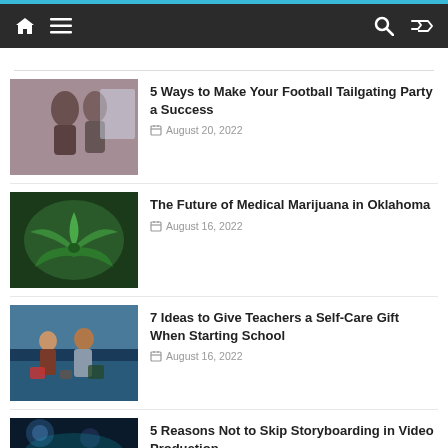Navigation bar with home, menu, search, and shuffle icons
[Figure (photo): People dancing/moving indoors]
5 Ways to Make Your Football Tailgating Party a Success
August 20, 2022
[Figure (photo): Close-up of green cannabis/marijuana plant leaves]
The Future of Medical Marijuana in Oklahoma
August 16, 2022
[Figure (photo): Two people working on a car outdoors]
7 Ideas to Give Teachers a Self-Care Gift When Starting School
August 16, 2022
[Figure (photo): Video production / filming scene with blue lighting]
5 Reasons Not to Skip Storyboarding in Video Production